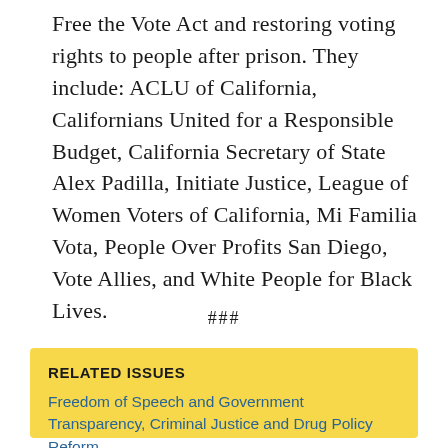Free the Vote Act and restoring voting rights to people after prison. They include: ACLU of California, Californians United for a Responsible Budget, California Secretary of State Alex Padilla, Initiate Justice, League of Women Voters of California, Mi Familia Vota, People Over Profits San Diego, Vote Allies, and White People for Black Lives.
###
RELATED ISSUES
Freedom of Speech and Government Transparency, Criminal Justice and Drug Policy Reform